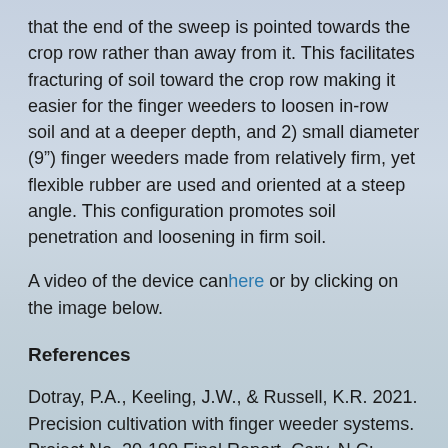that the end of the sweep is pointed towards the crop row rather than away from it. This facilitates fracturing of soil toward the crop row making it easier for the finger weeders to loosen in-row soil and at a deeper depth, and 2) small diameter (9") finger weeders made from relatively firm, yet flexible rubber are used and oriented at a steep angle. This configuration promotes soil penetration and loosening in firm soil.
A video of the device can here or by clicking on the image below.
References
Dotray, P.A., Keeling, J.W., & Russell, K.R. 2021. Precision cultivation with finger weeder systems. Project No. 20-190 Final Report. Cary, N.C: Cotton Inc.
Acknowledgments